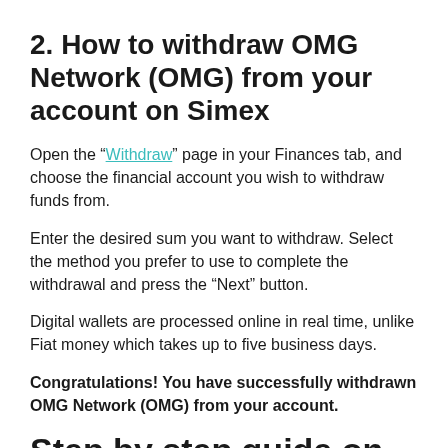2. How to withdraw OMG Network (OMG) from your account on Simex
Open the “Withdraw” page in your Finances tab, and choose the financial account you wish to withdraw funds from.
Enter the desired sum you want to withdraw. Select the method you prefer to use to complete the withdrawal and press the “Next” button.
Digital wallets are processed online in real time, unlike Fiat money which takes up to five business days.
Congratulations! You have successfully withdrawn OMG Network (OMG) from your account.
Step by step guide on how to